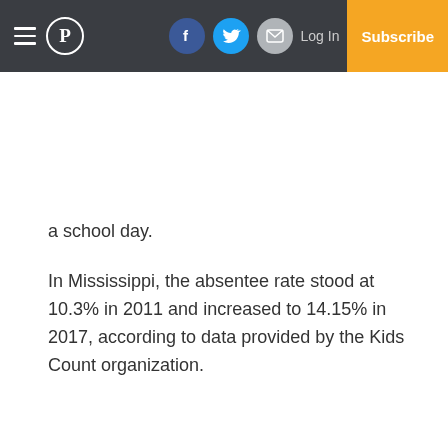P | Log In | Subscribe
a school day.
In Mississippi, the absentee rate stood at 10.3% in 2011 and increased to 14.15% in 2017, according to data provided by the Kids Count organization.